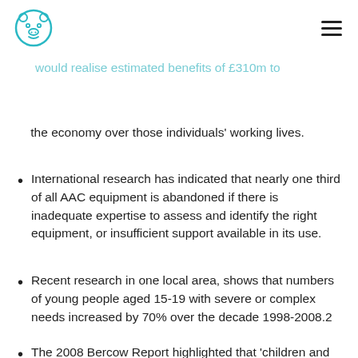[Logo] [Hamburger menu]
if even one in ten children provided with aids and associated services were as a result able to enter permanent employment, this would realise estimated benefits of £310m to the economy over those individuals' working lives.
International research has indicated that nearly one third of all AAC equipment is abandoned if there is inadequate expertise to assess and identify the right equipment, or insufficient support available in its use.
Recent research in one local area, shows that numbers of young people aged 15-19 with severe or complex needs increased by 70% over the decade 1998-2008.2
The 2008 Bercow Report highlighted that 'children and young people who require